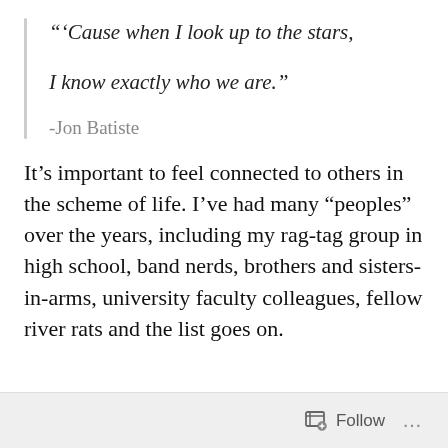“‘Cause when I look up to the stars,

I know exactly who we are.”

-Jon Batiste
It’s important to feel connected to others in the scheme of life. I’ve had many “peoples” over the years, including my rag-tag group in high school, band nerds, brothers and sisters-in-arms, university faculty colleagues, fellow river rats and the list goes on.
Follow …